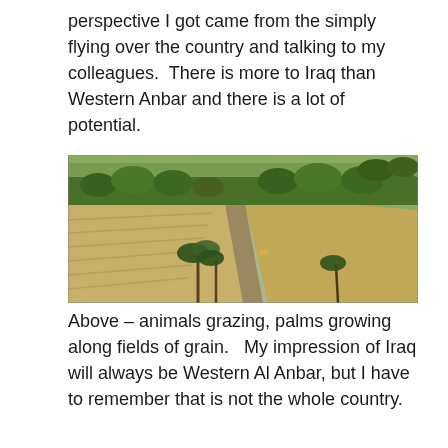perspective I got came from the simply flying over the country and talking to my colleagues.  There is more to Iraq than Western Anbar and there is a lot of potential.
[Figure (photo): Aerial photograph showing agricultural fields with palm trees growing along a road, dry grain fields on the left, and green areas with trees on the right and background.]
Above – animals grazing, palms growing along fields of grain.   My impression of Iraq will always be Western Al Anbar, but I have to remember that is not the whole country.